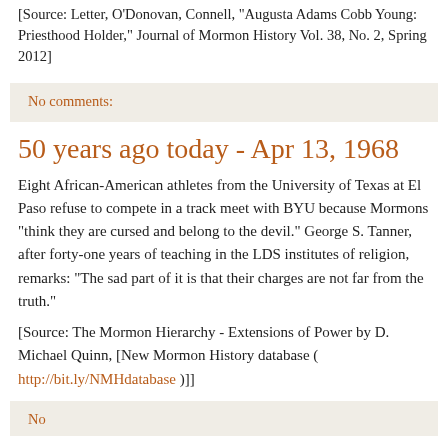[Source: Letter, O'Donovan, Connell, "Augusta Adams Cobb Young: Priesthood Holder," Journal of Mormon History Vol. 38, No. 2, Spring 2012]
No comments:
50 years ago today - Apr 13, 1968
Eight African-American athletes from the University of Texas at El Paso refuse to compete in a track meet with BYU because Mormons "think they are cursed and belong to the devil." George S. Tanner, after forty-one years of teaching in the LDS institutes of religion, remarks: "The sad part of it is that their charges are not far from the truth."
[Source: The Mormon Hierarchy - Extensions of Power by D. Michael Quinn, [New Mormon History database ( http://bit.ly/NMHdatabase )]]
No comments: